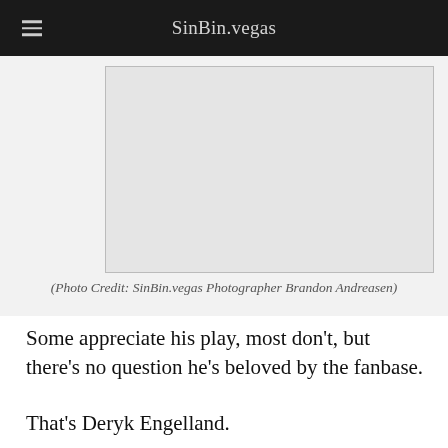SinBin.vegas
[Figure (photo): Photo placeholder box]
(Photo Credit: SinBin.vegas Photographer Brandon Andreasen)
Some appreciate his play, most don't, but there's no question he's beloved by the fanbase.
That's Deryk Engelland.